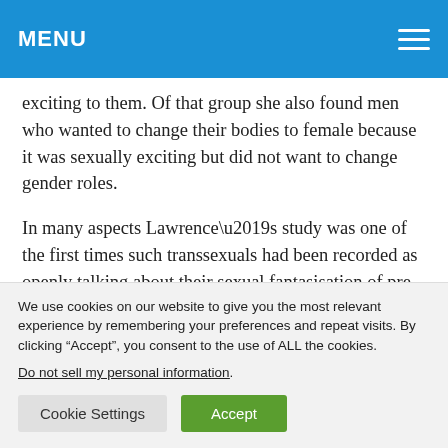MENU
exciting to them. Of that group she also found men who wanted to change their bodies to female because it was sexually exciting but did not want to change gender roles.
In many aspects Lawrence’s study was one of the first times such transsexuals had been recorded as openly talking about their sexual fantasisation of pre-transition cross-sexed excitation for their own bodies.
We use cookies on our website to give you the most relevant experience by remembering your preferences and repeat visits. By clicking “Accept”, you consent to the use of ALL the cookies.
Do not sell my personal information.